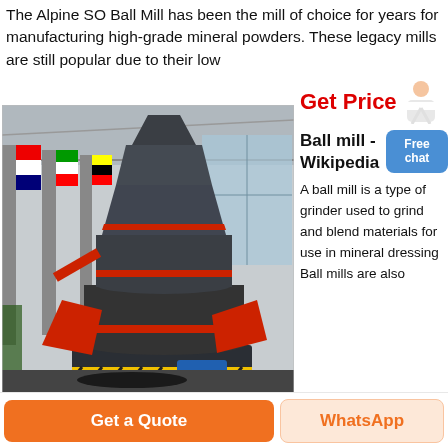The Alpine SO Ball Mill has been the mill of choice for years for manufacturing high-grade mineral powders. These legacy mills are still popular due to their low
[Figure (photo): Large industrial ball mill / grinding mill machine (dark grey cylindrical tower with red accents) inside a factory/exhibition hall with flags in the background]
Get Price
Ball mill - Wikipedia
A ball mill is a type of grinder used to grind and blend materials for use in mineral dressing Ball mills are also
Get a Quote
WhatsApp